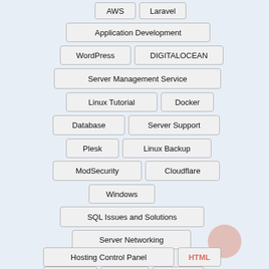[Figure (infographic): Tag cloud / word cloud of technology and server-related topics displayed as pill-shaped label boxes arranged in a pyramid/diamond pattern. Tags include: AWS, Laravel, Application Development, WordPress, DIGITALOCEAN, Server Management Service, Linux Tutorial, Docker, Database, Server Support, Plesk, Linux Backup, ModSecurity, Cloudflare, Windows, SQL Issues and Solutions, Server Networking, Hosting Control Panel, HTML, Tutorials, Nginx, Apache]